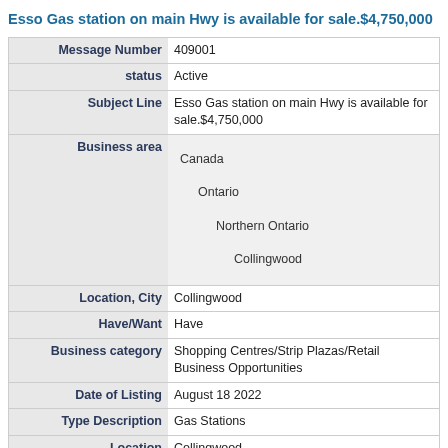Esso Gas station on main Hwy is available for sale.$4,750,000
| Field | Value |
| --- | --- |
| Message Number | 409001 |
| status | Active |
| Subject Line | Esso Gas station on main Hwy is available for sale.$4,750,000 |
| Business area | Canada
Ontario
Northern Ontario
Collingwood |
| Location, City | Collingwood |
| Have/Want | Have |
| Business category | Shopping Centres/Strip Plazas/Retail Business Opportunities |
| Date of Listing | August 18 2022 |
| Type Description | Gas Stations |
| Location | Collingwood |
| Price | $4,750,000.00 |